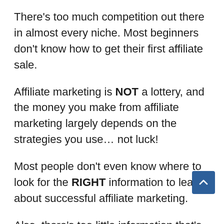There's too much competition out there in almost every niche. Most beginners don't know how to get their first affiliate sale.
Affiliate marketing is NOT a lottery, and the money you make from affiliate marketing largely depends on the strategies you use… not luck!
Most people don't even know where to look for the RIGHT information to learn about successful affiliate marketing.
Also, there's too little information that's